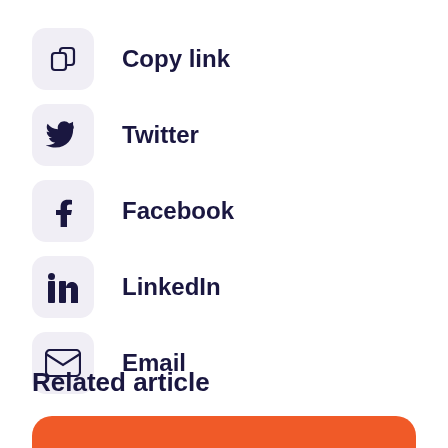Copy link
Twitter
Facebook
LinkedIn
Email
Related article